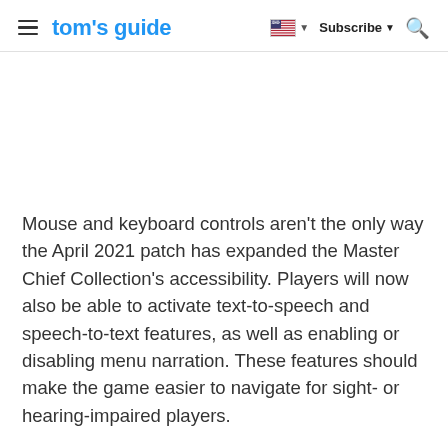tom's guide | Subscribe | Search
Mouse and keyboard controls aren't the only way the April 2021 patch has expanded the Master Chief Collection's accessibility. Players will now also be able to activate text-to-speech and speech-to-text features, as well as enabling or disabling menu narration. These features should make the game easier to navigate for sight- or hearing-impaired players.